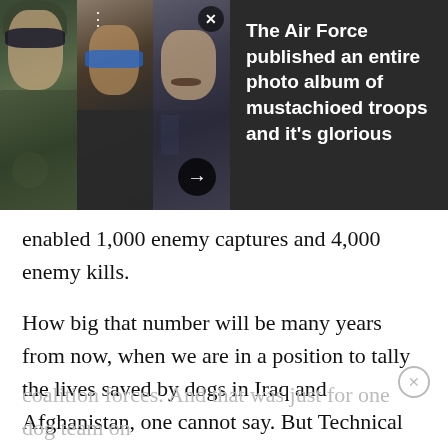[Figure (photo): Three military personnel with mustaches shown side by side: left person in flight helmet and goggles, middle person in hoodie with blue sunglasses, right person in tactical gear with mustache. Dark background with X close button and right arrow navigation button. Sidebar with dark background contains headline text.]
The Air Force published an entire photo album of mustachioed troops and it's glorious
enabled 1,000 enemy captures and 4,000 enemy kills.
How big that number will be many years from now, when we are in a position to tally the lives saved by dogs in Iraq and Afghanistan, one cannot say. But Technical Sergeant Justin Kitts was awarded his Bronze Star in 2011 for his detection work with Dyngo during their Afghanistan deployment, and for having secured the lives of 30,000 US, host nation, and coalition forces. And that was just for one dog team on